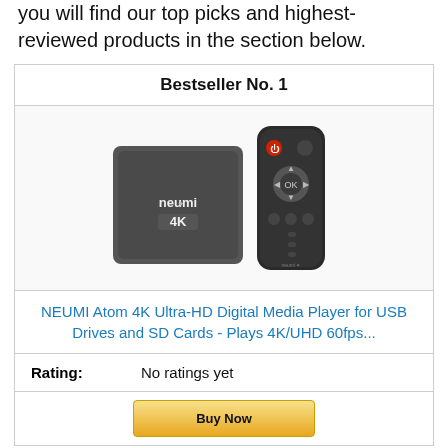you will find our top picks and highest-reviewed products in the section below.
| Bestseller No. 1 |
| --- |
| [Product image: NEUMI Atom 4K media player box with remote control] |
| NEUMI Atom 4K Ultra-HD Digital Media Player for USB Drives and SD Cards - Plays 4K/UHD 60fps... |
| Rating: No ratings yet |
| [Buy Now button] |
[Figure (photo): NEUMI Atom 4K media player - a dark grey square box with NEUMI 4K branding, shown alongside its black remote control with red power button and circular navigation pad.]